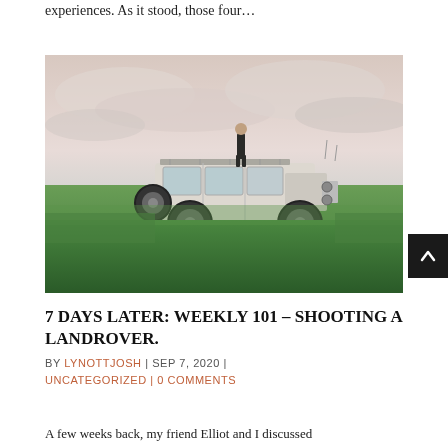experiences. As it stood, those four…
[Figure (photo): A person standing on top of a white Land Rover Defender parked in a green field with a cloudy pink/grey sky in the background.]
7 DAYS LATER: WEEKLY 101 – SHOOTING A LANDROVER.
BY LYNOTTJOSH | SEP 7, 2020 | UNCATEGORIZED | 0 COMMENTS
A few weeks back, my friend Elliot and I discussed